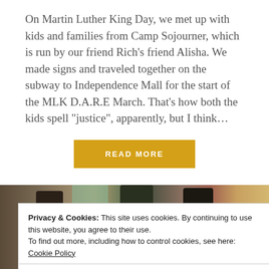On Martin Luther King Day, we met up with kids and families from Camp Sojourner, which is run by our friend Rich's friend Alisha. We made signs and traveled together on the subway to Independence Mall for the start of the MLK D.A.R.E March. That's how both the kids spell "justice", apparently, but I think…
READ MORE
[Figure (photo): Photo of people in a religious or artistic setting with paintings and figures visible]
Privacy & Cookies: This site uses cookies. By continuing to use this website, you agree to their use.
To find out more, including how to control cookies, see here: Cookie Policy
Close and accept